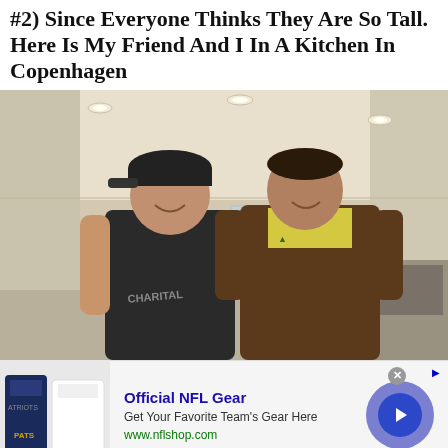#2) Since Everyone Thinks They Are So Tall. Here Is My Friend And I In A Kitchen In Copenhagen
[Figure (photo): Two men posing together in a modern kitchen with white walls and recessed ceiling lights. The man on the left wears a dark sleeveless shirt reading 'CHARITAL' and a cap. The man on the right wears a brown jacket over a yellow shirt.]
[Figure (screenshot): Advertisement banner for Official NFL Gear. Shows NFL jerseys image on left, text 'Official NFL Gear - Get Your Favorite Team's Gear Here - www.nflshop.com' in center, and a blue arrow button on right with a lavender circle background.]